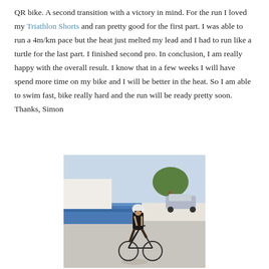QR bike. A second transition with a victory in mind. For the run I loved my Triathlon Shorts and ran pretty good for the first part. I was able to run a 4m/km pace but the heat just melted my lead and I had to run like a turtle for the last part. I finished second pro. In conclusion, I am really happy with the overall result. I know that in a few weeks I will have spend more time on my bike and I will be better in the heat. So I am able to swim fast, bike really hard and the run will be ready pretty soon.
Thanks, Simon
[Figure (photo): A triathlete wearing a white helmet and dark tri-suit riding a bicycle on a road during a race, with blue barriers and a tree and a car visible in the background.]